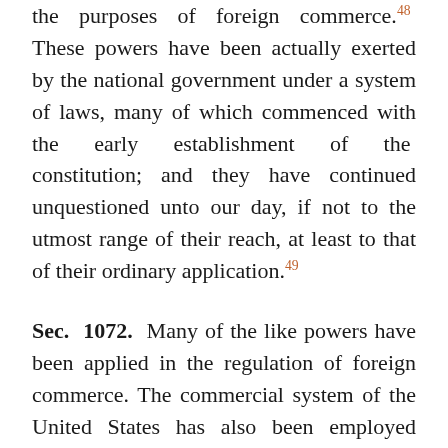the purposes of foreign commerce.48 These powers have been actually exerted by the national government under a system of laws, many of which commenced with the early establishment of the constitution; and they have continued unquestioned unto our day, if not to the utmost range of their reach, at least to that of their ordinary application.49
Sec. 1072. Many of the like powers have been applied in the regulation of foreign commerce. The commercial system of the United States has also been employed sometimes for the purpose of revenue; sometimes for the purpose of prohibition; sometimes for the purpose of retaliation and commercial reciprocity; sometimes to lay embargoes;50 sometimes to encourage